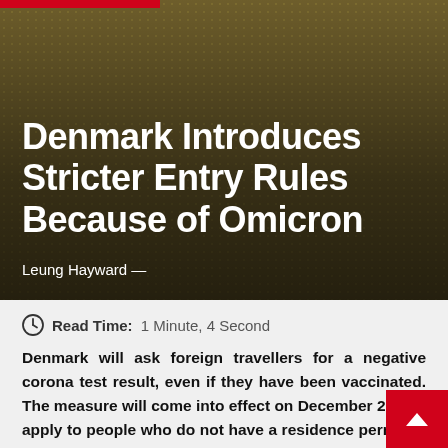[Figure (photo): Hero image showing a person in a yellow patterned shirt, with a dark overlay. Red bar at top left.]
Denmark Introduces Stricter Entry Rules Because of Omicron
Leung Hayward —
Read Time: 1 Minute, 4 Second
Denmark will ask foreign travellers for a negative corona test result, even if they have been vaccinated. The measure will come into effect on December 27 and apply to people who do not have a residence permit or a Danish passport.
Other European countries have also announced stricter entry measures this week now that the omicron variant of